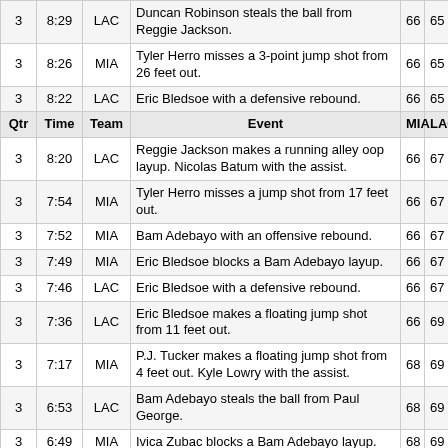| Qtr | Time | Team | Event | MIA | LAC |
| --- | --- | --- | --- | --- | --- |
| 3 | 8:29 | LAC | Duncan Robinson steals the ball from Reggie Jackson. | 66 | 65 |
| 3 | 8:26 | MIA | Tyler Herro misses a 3-point jump shot from 26 feet out. | 66 | 65 |
| 3 | 8:22 | LAC | Eric Bledsoe with a defensive rebound. | 66 | 65 |
| 3 | 8:20 | LAC | Reggie Jackson makes a running alley oop layup. Nicolas Batum with the assist. | 66 | 67 |
| 3 | 7:54 | MIA | Tyler Herro misses a jump shot from 17 feet out. | 66 | 67 |
| 3 | 7:52 | MIA | Bam Adebayo with an offensive rebound. | 66 | 67 |
| 3 | 7:49 | MIA | Eric Bledsoe blocks a Bam Adebayo layup. | 66 | 67 |
| 3 | 7:46 | LAC | Eric Bledsoe with a defensive rebound. | 66 | 67 |
| 3 | 7:36 | LAC | Eric Bledsoe makes a floating jump shot from 11 feet out. | 66 | 69 |
| 3 | 7:17 | MIA | P.J. Tucker makes a floating jump shot from 4 feet out. Kyle Lowry with the assist. | 68 | 69 |
| 3 | 6:53 | LAC | Bam Adebayo steals the ball from Paul George. | 68 | 69 |
| 3 | 6:49 | MIA | Ivica Zubac blocks a Bam Adebayo layup. | 68 | 69 |
| 3 | 6:43 | MIA | Duncan Robinson with an offensive rebound. | 68 | 69 |